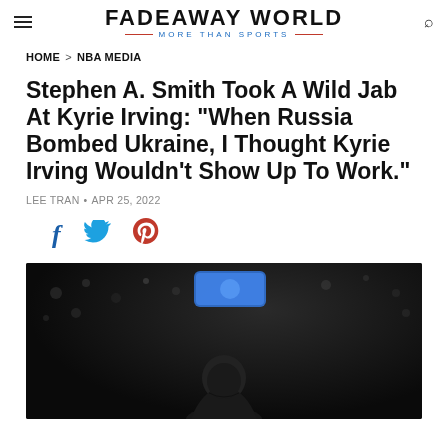FADEAWAY WORLD — MORE THAN SPORTS
HOME > NBA MEDIA
Stephen A. Smith Took A Wild Jab At Kyrie Irving: "When Russia Bombed Ukraine, I Thought Kyrie Irving Wouldn't Show Up To Work."
LEE TRAN • APR 25, 2022
[Figure (photo): Basketball player (Kyrie Irving) in a dark arena with blurred crowd background and blue scoreboard light visible]
[Figure (other): Social media share icons: Facebook, Twitter, Pinterest]